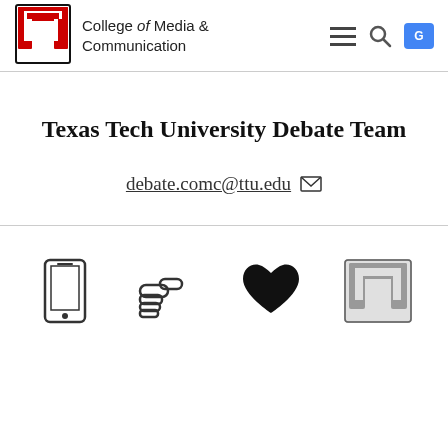College of Media & Communication
Texas Tech University Debate Team
debate.comc@ttu.edu
[Figure (screenshot): Navigation icons row: phone icon, pointing hand icon, heart icon, Texas Tech double-T logo]